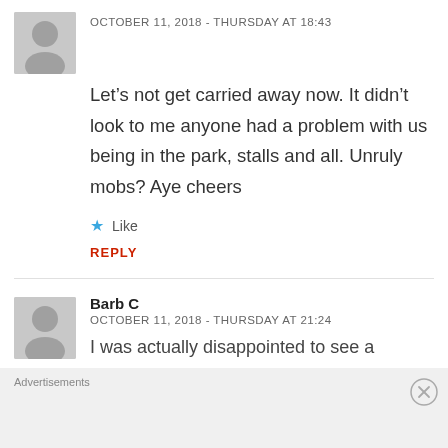OCTOBER 11, 2018 - THURSDAY AT 18:43
Let’s not get carried away now. It didn’t look to me anyone had a problem with us being in the park, stalls and all. Unruly mobs? Aye cheers
★ Like
REPLY
Barb C
OCTOBER 11, 2018 - THURSDAY AT 21:24
I was actually disappointed to see a
Advertisements